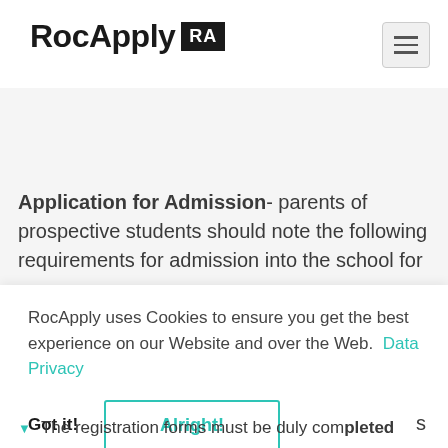RocApply RA
Application for Admission- parents of prospective students should note the following requirements for admission into the school for
RocApply uses Cookies to ensure you get the best experience on our Website and over the Web.  Data Privacy
Got it!   Alright!
The registration forms must be duly completed